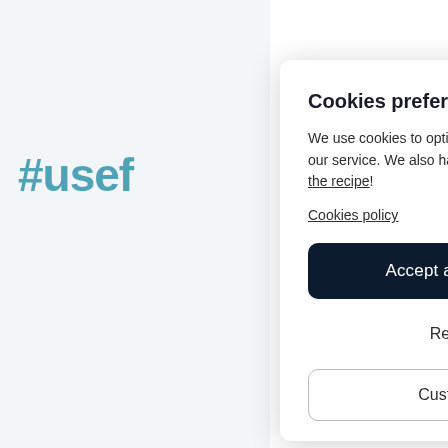#usef
Paris -
Genève - Gren
St-Colom
des-Vil
La To
St-Sorlin-d'A
Cookies preferences 🍪
We use cookies to optimize our website and our service. We also have matafans. Download the recipe! Cookies policy
Accept all cookies
Refuse
Customize